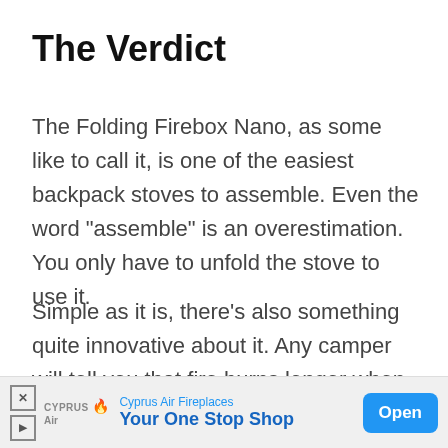The Verdict
The Folding Firebox Nano, as some like to call it, is one of the easiest backpack stoves to assemble. Even the word “assemble” is an overestimation. You only have to unfold the stove to use it.
Simple as it is, there’s also something quite innovative about it. Any camper will tell you that fire burns longer when the wood is crossed. This stove has two holes, one on either side, for firewood. That translates
[Figure (other): Advertisement banner for Cyprus Air Fireplaces with logo, tagline 'Your One Stop Shop', and an Open button]